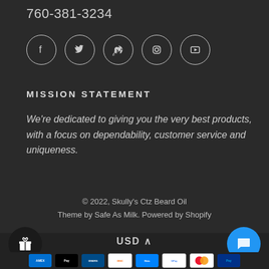760-381-3234
[Figure (infographic): Row of five social media icons in circles: Facebook, Twitter, Pinterest, Instagram, YouTube]
MISSION STATEMENT
We're dedicated to giving you the very best products, with a focus on dependability, customer service and uniqueness.
© 2022, Skully's Ctz Beard Oil
Theme by Safe As Milk. Powered by Shopify
[Figure (infographic): Bottom navigation bar with gift icon button on left, USD currency selector in center with caret, and chat button on right in blue. Payment icons row at bottom: AMEX, Apple Pay, Diners, Discover, Meta Pay, Google Pay, Mastercard, PayPal]